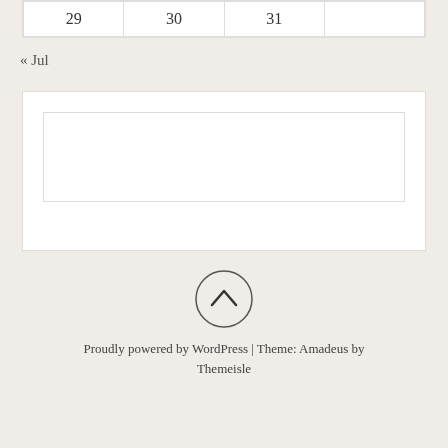| 29 | 30 | 31 |  |
« Jul
[Figure (other): Empty white content box with border inside a card]
[Figure (other): Scroll-to-top circle button with upward chevron arrow]
Proudly powered by WordPress | Theme: Amadeus by Themeisle